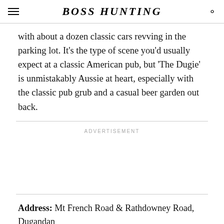BOSS HUNTING
with about a dozen classic cars revving in the parking lot. It’s the type of scene you’d usually expect at a classic American pub, but ‘The Dugie’ is unmistakably Aussie at heart, especially with the classic pub grub and a casual beer garden out back.
ADVERTISEMENT
Address: Mt French Road & Rathdowney Road, Dugandan